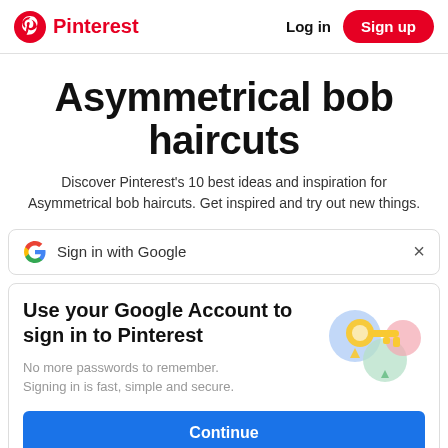Pinterest | Log in | Sign up
Asymmetrical bob haircuts
Discover Pinterest's 10 best ideas and inspiration for Asymmetrical bob haircuts. Get inspired and try out new things.
Sign in with Google  ×
Use your Google Account to sign in to Pinterest
No more passwords to remember. Signing in is fast, simple and secure.
[Figure (illustration): Google sign-in illustration with a golden key, colorful circles in blue, green, and pink pastel colors]
Continue